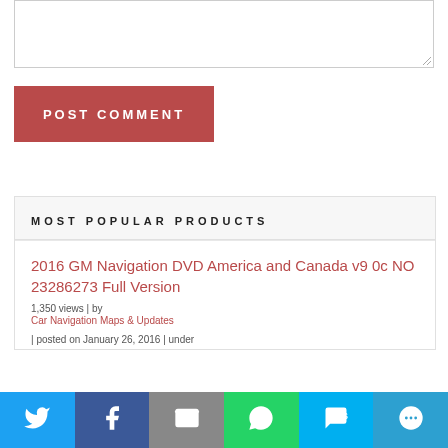[Figure (screenshot): Text area input box (comment form)]
POST COMMENT
MOST POPULAR PRODUCTS
2016 GM Navigation DVD America and Canada v9 0c NO 23286273 Full Version
1,350 views | by Car Navigation Maps & Updates | posted on January 26, 2016 | under
[Figure (infographic): Social sharing bar with Twitter, Facebook, Email, WhatsApp, SMS, and More buttons]